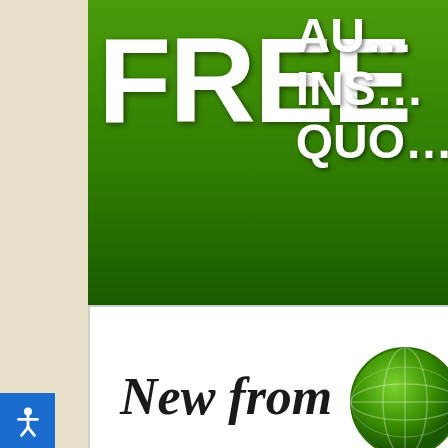[Figure (advertisement): Insurance advertisement banner showing 'FREE' in large white text on green background with 'INS... QU...' text partially visible top right. Below is a white card section showing 'New from AOPA Insurance Agency Inc.' with green globe logo partially visible on right.]